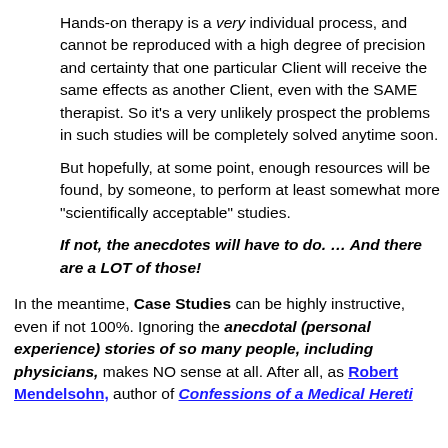Hands-on therapy is a very individual process, and cannot be reproduced with a high degree of precision and certainty that one particular Client will receive the same effects as another Client, even with the SAME therapist. So it’s a very unlikely prospect the problems in such studies will be completely solved anytime soon.
But hopefully, at some point, enough resources will be found, by someone, to perform at least somewhat more “scientifically acceptable” studies.
If not, the anecdotes will have to do. … And there are a LOT of those!
In the meantime, Case Studies can be highly instructive, even if not 100%. Ignoring the anecdotal (personal experience) stories of so many people, including physicians, makes NO sense at all. After all, as Robert Mendelsohn, author of Confessions of a Medical Heretic